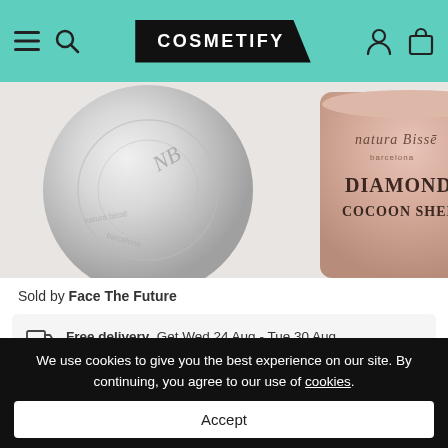COSMETIFY
[Figure (photo): Natura Bissé Diamond Cocoon Sheer product jars — a silver metallic lid on the left and a rose gold jar with 'DIAMOND COCOON SHEER' text on the right]
Sold by Face The Future
Free delivery. Get Wed 24 Aug - Tue 30 Aug
Fastest delivery Tue 23 Aug. Order within 12 hrs, 11 mins
We use cookies to give you the best experience on our site. By continuing, you agree to our use of cookies.
Accept